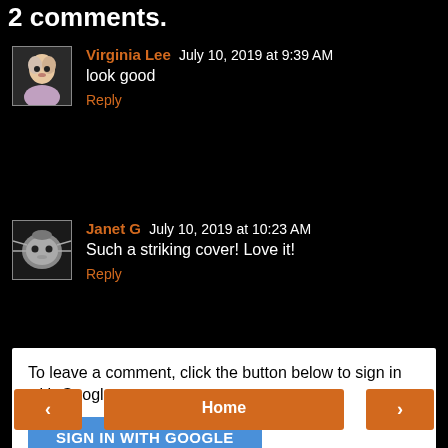2 comments.
Virginia Lee July 10, 2019 at 9:39 AM
look good
Reply
Janet G July 10, 2019 at 10:23 AM
Such a striking cover! Love it!
Reply
To leave a comment, click the button below to sign in with Google.
SIGN IN WITH GOOGLE
< Home >